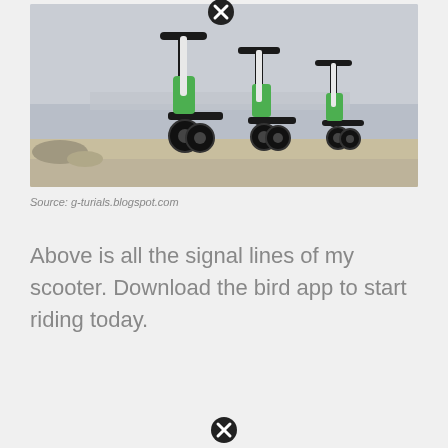[Figure (photo): Three electric scooters (Lime/Bird style, white with green battery packs) parked in a row on a concrete waterfront promenade, with a hazy cityscape and water in the background.]
Source: g-turials.blogspot.com
Above is all the signal lines of my scooter. Download the bird app to start riding today.